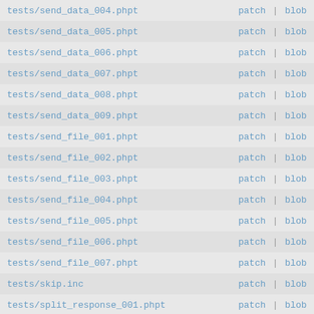tests/send_data_004.phpt   patch | blob | history
tests/send_data_005.phpt   patch | blob | history
tests/send_data_006.phpt   patch | blob | history
tests/send_data_007.phpt   patch | blob | history
tests/send_data_008.phpt   patch | blob | history
tests/send_data_009.phpt   patch | blob | history
tests/send_file_001.phpt   patch | blob | history
tests/send_file_002.phpt   patch | blob | history
tests/send_file_003.phpt   patch | blob | history
tests/send_file_004.phpt   patch | blob | history
tests/send_file_005.phpt   patch | blob | history
tests/send_file_006.phpt   patch | blob | history
tests/send_file_007.phpt   patch | blob | history
tests/skip.inc   patch | blob | history
tests/split_response_001.phpt   patch | blob | history
tests/split_response_002.phpt   patch | blob | history